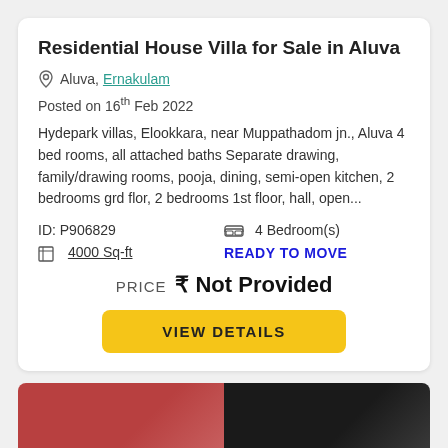Residential House Villa for Sale in Aluva
Aluva, Ernakulam
Posted on 16th Feb 2022
Hydepark villas, Elookkara, near Muppathadom jn., Aluva 4 bed rooms, all attached baths Separate drawing, family/drawing rooms, pooja, dining, semi-open kitchen, 2 bedrooms grd flor, 2 bedrooms 1st floor, hall, open...
ID: P906829
4 Bedroom(s)
4000 Sq-ft
READY TO MOVE
PRICE ₹ Not Provided
VIEW DETAILS
[Figure (photo): Partial photo strip of a residential property at bottom of page]